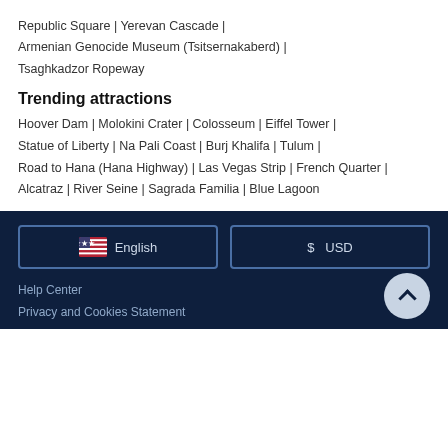Republic Square | Yerevan Cascade | Armenian Genocide Museum (Tsitsernakaberd) | Tsaghkadzor Ropeway
Trending attractions
Hoover Dam | Molokini Crater | Colosseum | Eiffel Tower | Statue of Liberty | Na Pali Coast | Burj Khalifa | Tulum | Road to Hana (Hana Highway) | Las Vegas Strip | French Quarter | Alcatraz | River Seine | Sagrada Familia | Blue Lagoon
English | USD | Help Center | Privacy and Cookies Statement